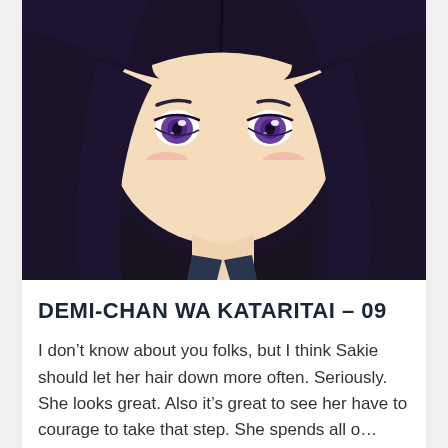[Figure (illustration): Anime character close-up illustration: a girl with long black hair, large purple eyes, rosy blush cheeks, and a subtle smile. Dark background with rich warm skin tones.]
DEMI-CHAN WA KATARITAI – 09
I don't know about you folks, but I think Sakie should let her hair down more often. Seriously. She looks great. Also it's great to see her have to courage to take that step. She spends all o... Continue Reading